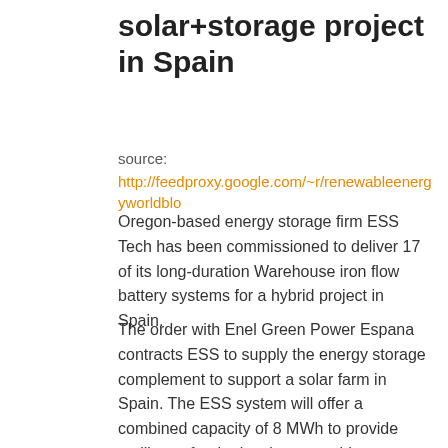solar+storage project in Spain
source:
http://feedproxy.google.com/~r/renewableenergyworldblo
Oregon-based energy storage firm ESS Tech has been commissioned to deliver 17 of its long-duration Warehouse iron flow battery systems for a hybrid project in Spain.
The order with Enel Green Power Espana contracts ESS to supply the energy storage complement to support a solar farm in Spain. The ESS system will offer a combined capacity of 8 MWh to provide resilience for the local power grid.